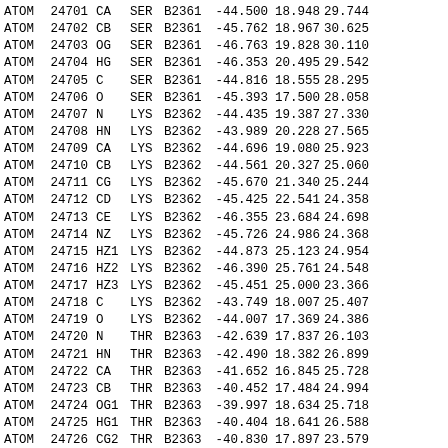| Record | Serial | Name | Res | Chain | X | Y | Z |
| --- | --- | --- | --- | --- | --- | --- | --- |
| ATOM | 24701 | CA | SER | B2361 | -44.500 | 18.948 | 29.744 |
| ATOM | 24702 | CB | SER | B2361 | -45.762 | 18.967 | 30.625 |
| ATOM | 24703 | OG | SER | B2361 | -46.763 | 19.828 | 30.110 |
| ATOM | 24704 | HG | SER | B2361 | -46.353 | 20.495 | 29.542 |
| ATOM | 24705 | C | SER | B2361 | -44.816 | 18.555 | 28.295 |
| ATOM | 24706 | O | SER | B2361 | -45.393 | 17.500 | 28.058 |
| ATOM | 24707 | N | LYS | B2362 | -44.435 | 19.387 | 27.330 |
| ATOM | 24708 | HN | LYS | B2362 | -43.989 | 20.228 | 27.565 |
| ATOM | 24709 | CA | LYS | B2362 | -44.696 | 19.080 | 25.923 |
| ATOM | 24710 | CB | LYS | B2362 | -44.561 | 20.327 | 25.060 |
| ATOM | 24711 | CG | LYS | B2362 | -45.670 | 21.340 | 25.244 |
| ATOM | 24712 | CD | LYS | B2362 | -45.425 | 22.541 | 24.358 |
| ATOM | 24713 | CE | LYS | B2362 | -46.355 | 23.684 | 24.698 |
| ATOM | 24714 | NZ | LYS | B2362 | -45.726 | 24.986 | 24.368 |
| ATOM | 24715 | HZ1 | LYS | B2362 | -44.873 | 25.123 | 24.954 |
| ATOM | 24716 | HZ2 | LYS | B2362 | -46.390 | 25.761 | 24.548 |
| ATOM | 24717 | HZ3 | LYS | B2362 | -45.451 | 25.000 | 23.366 |
| ATOM | 24718 | C | LYS | B2362 | -43.749 | 18.007 | 25.407 |
| ATOM | 24719 | O | LYS | B2362 | -44.007 | 17.369 | 24.386 |
| ATOM | 24720 | N | THR | B2363 | -42.639 | 17.837 | 26.103 |
| ATOM | 24721 | HN | THR | B2363 | -42.490 | 18.382 | 26.899 |
| ATOM | 24722 | CA | THR | B2363 | -41.652 | 16.845 | 25.728 |
| ATOM | 24723 | CB | THR | B2363 | -40.452 | 17.484 | 24.994 |
| ATOM | 24724 | OG1 | THR | B2363 | -39.997 | 18.634 | 25.718 |
| ATOM | 24725 | HG1 | THR | B2363 | -40.404 | 18.641 | 26.588 |
| ATOM | 24726 | CG2 | THR | B2363 | -40.830 | 17.897 | 23.579 |
| ATOM | 24727 | C | THR | B2363 | -41.149 | 16.129 | 26.970 |
| ATOM | 24728 | O | THR | B2363 | -41.053 | 16.734 | 28.045 |
| ATOM | 24729 | N | GLN | B2364 | -40.850 | 14.847 | 26.824 |
| ATOM | 24730 | HN | GLN | B2364 | -40.989 | 14.425 | 25.953 |